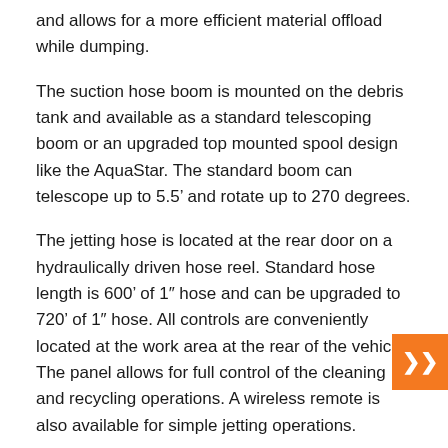and allows for a more efficient material offload while dumping.
The suction hose boom is mounted on the debris tank and available as a standard telescoping boom or an upgraded top mounted spool design like the AquaStar. The standard boom can telescope up to 5.5’ and rotate up to 270 degrees.
The jetting hose is located at the rear door on a hydraulically driven hose reel. Standard hose length is 600’ of 1″ hose and can be upgraded to 720’ of 1″ hose. All controls are conveniently located at the work area at the rear of the vehicle. The panel allows for full control of the cleaning and recycling operations. A wireless remote is also available for simple jetting operations.
With similar capabilities to KAISER PREMIER’s AquaStar Water Recycler, the EcoCycler is reliable in the toughest conditions.